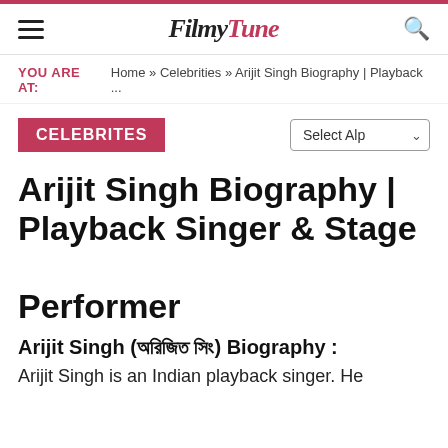FilmyTune
YOU ARE AT: Home » Celebrities » Arijit Singh Biography | Playback ...
CELEBRITES
Arijit Singh Biography | Playback Singer & Stage Performer
Arijit Singh (অরিজিৎ সিং) Biography :
Arijit Singh is an Indian playback singer. He